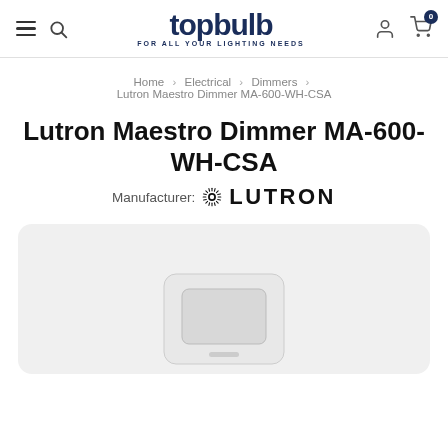topbulb FOR ALL YOUR LIGHTING NEEDS
Home > Electrical > Dimmers > Lutron Maestro Dimmer MA-600-WH-CSA
Lutron Maestro Dimmer MA-600-WH-CSA
Manufacturer: LUTRON
[Figure (photo): Product photo of Lutron Maestro Dimmer MA-600-WH-CSA, white wall dimmer switch on light gray rounded rectangle background, partially visible at bottom of page]